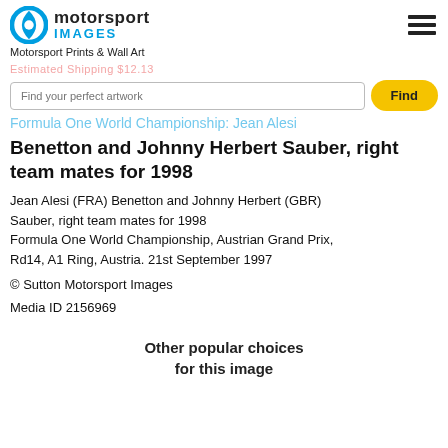Motorsport Images | Motorsport Prints & Wall Art
Find your perfect artwork
Formula One World Championship: Jean Alesi Benetton and Johnny Herbert Sauber, right team mates for 1998
Jean Alesi (FRA) Benetton and Johnny Herbert (GBR) Sauber, right team mates for 1998 Formula One World Championship, Austrian Grand Prix, Rd14, A1 Ring, Austria. 21st September 1997
© Sutton Motorsport Images
Media ID 2156969
Other popular choices for this image